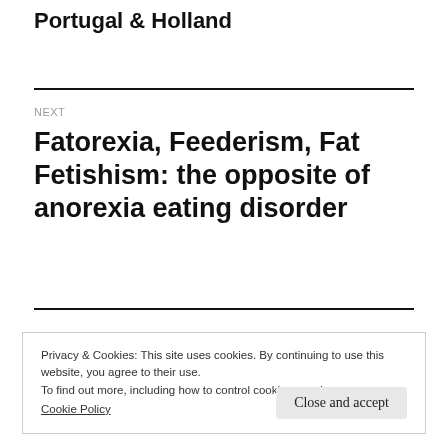Portugal & Holland
NEXT
Fatorexia, Feederism, Fat Fetishism: the opposite of anorexia eating disorder
Privacy & Cookies: This site uses cookies. By continuing to use this website, you agree to their use.
To find out more, including how to control cookies, see here:
Cookie Policy
Close and accept